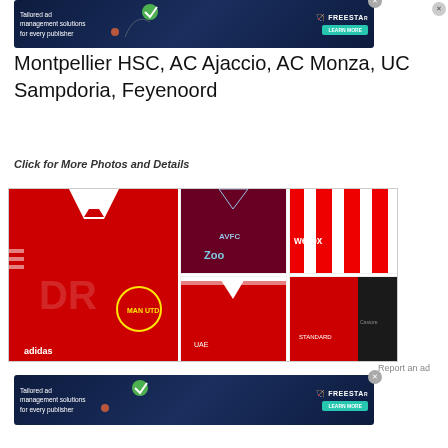[Figure (screenshot): Advertisement banner for Freestar tailored ad management solutions for every publisher with a Learn More button and close button]
Montpellier HSC, AC Ajaccio, AC Monza, UC Sampdoria, Feyenoord
Click for More Photos and Details
[Figure (photo): Collage of football/soccer jerseys including Manchester United (red with Adidas logo), Aston Villa (dark red), Wolves (teal with AstroPay sponsor), Brentford (red and white stripes with wefox sponsor), and other club jerseys]
[Figure (screenshot): Second advertisement banner for Freestar tailored ad management solutions for every publisher with a Learn More button and close button]
Report an ad